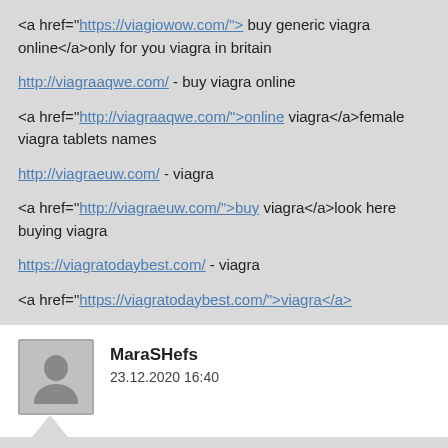<a href="https://viagiowow.com/"> buy generic viagra online</a>only for you viagra in britain
http://viagraaqwe.com/ - buy viagra online
<a href="http://viagraaqwe.com/">online viagra</a>female viagra tablets names
http://viagraeuw.com/ - viagra
<a href="http://viagraeuw.com/">buy viagra</a>look here buying viagra
https://viagratodaybest.com/ - viagra
<a href="https://viagratodaybest.com/">viagra</a>
MaraSHefs
23.12.2020 16:40
buy meds with paypal viagra
https://viagiowow.com/ - buy viagra